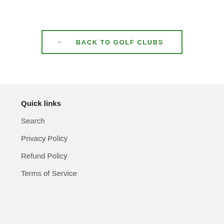← BACK TO GOLF CLUBS
Quick links
Search
Privacy Policy
Refund Policy
Terms of Service